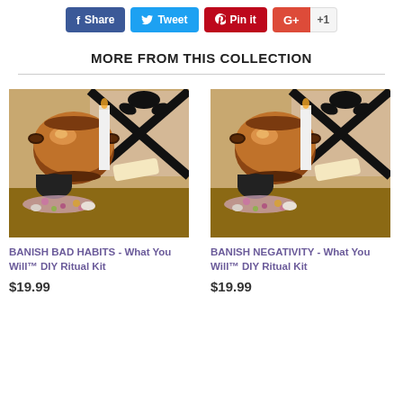[Figure (other): Social sharing buttons: Facebook Share (blue), Twitter Tweet (light blue), Pinterest Pin it (red), Google+ +1 (orange-red)]
MORE FROM THIS COLLECTION
[Figure (photo): Product photo: copper cauldron with white candle, black ribbon, herbs and ritual items on wooden surface - BANISH BAD HABITS kit]
BANISH BAD HABITS - What You Will™ DIY Ritual Kit
$19.99
[Figure (photo): Product photo: copper cauldron with white candle, black ribbon, herbs and ritual items on wooden surface - BANISH NEGATIVITY kit]
BANISH NEGATIVITY - What You Will™ DIY Ritual Kit
$19.99